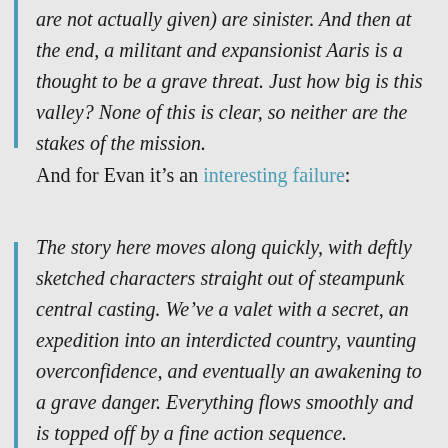are not actually given) are sinister. And then at the end, a militant and expansionist Aaris is a thought to be a grave threat. Just how big is this valley? None of this is clear, so neither are the stakes of the mission.
And for Evan it's an interesting failure:
The story here moves along quickly, with deftly sketched characters straight out of steampunk central casting. We've a valet with a secret, an expedition into an interdicted country, vaunting overconfidence, and eventually an awakening to a grave danger. Everything flows smoothly and is topped off by a fine action sequence.